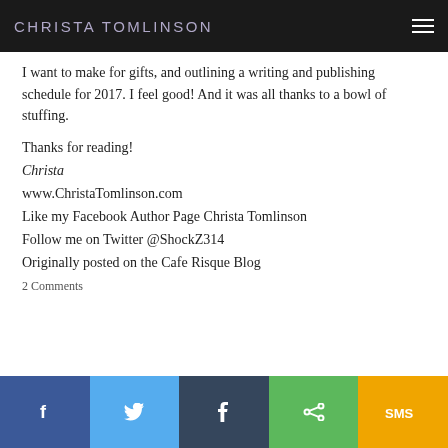CHRISTA TOMLINSON
I want to make for gifts, and outlining a writing and publishing schedule for 2017. I feel good! And it was all thanks to a bowl of stuffing.
Thanks for reading!
Christa
www.ChristaTomlinson.com
Like my Facebook Author Page Christa Tomlinson
Follow me on Twitter @ShockZ314
Originally posted on the Cafe Risque Blog
2 Comments
[Figure (infographic): Social sharing bar with five buttons: Facebook (blue), Twitter (light blue), Tumblr (dark blue/slate), Share (green), SMS (amber/yellow)]